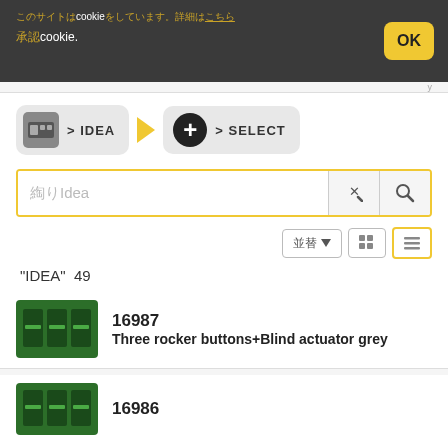このサイトはcookieを使用しています。詳細はこちら
承認cookie.
[Figure (screenshot): Cookie consent banner with OK button]
[Figure (screenshot): Step navigation bar: IDEA > SELECT]
絞りIdea  ×  🔍
並替 ▼  ⊞  ≡
"IDEA"  49
[Figure (photo): Green electronic module product image]
16987
Three rocker buttons+Blind actuator grey
[Figure (photo): Green electronic module product image]
16986